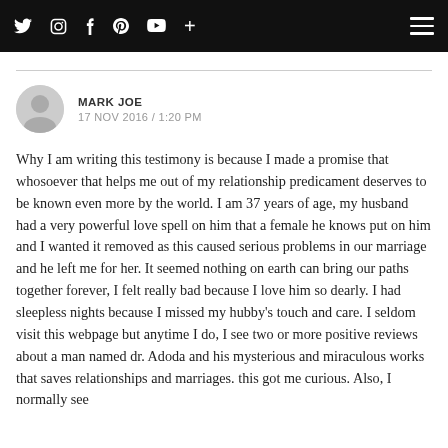Social media icons: Twitter, Instagram, Facebook, Pinterest, YouTube, Plus | Hamburger menu
MARK JOE
17 NOV 2016 / 1:20 PM
Why I am writing this testimony is because I made a promise that whosoever that helps me out of my relationship predicament deserves to be known even more by the world. I am 37 years of age, my husband had a very powerful love spell on him that a female he knows put on him and I wanted it removed as this caused serious problems in our marriage and he left me for her. It seemed nothing on earth can bring our paths together forever, I felt really bad because I love him so dearly. I had sleepless nights because I missed my hubby's touch and care. I seldom visit this webpage but anytime I do, I see two or more positive reviews about a man named dr. Adoda and his mysterious and miraculous works that saves relationships and marriages. this got me curious. Also, I normally see